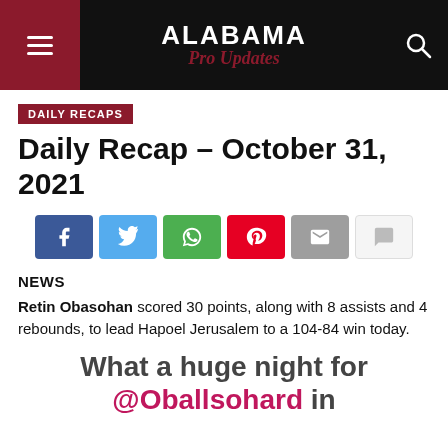ALABAMA Pro Updates
DAILY RECAPS
Daily Recap – October 31, 2021
[Figure (infographic): Social share buttons: Facebook (blue), Twitter (light blue), WhatsApp (green), Pinterest (red), Email (grey), Comment (light grey)]
NEWS
Retin Obasohan scored 30 points, along with 8 assists and 4 rebounds, to lead Hapoel Jerusalem to a 104-84 win today.
What a huge night for @Oballsohard in